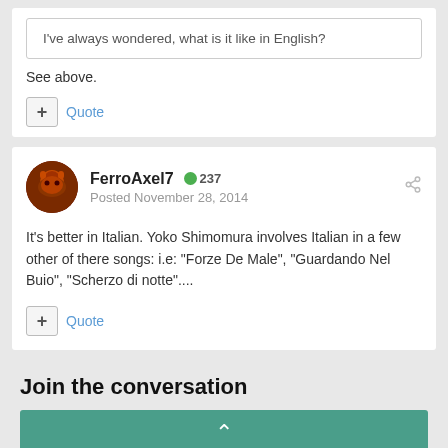I've always wondered, what is it like in English?
See above.
Quote
FerroAxel7   237
Posted November 28, 2014
It's better in Italian. Yoko Shimomura involves Italian in a few other of there songs: i.e: "Forze De Male", "Guardando Nel Buio", "Scherzo di notte"....
Quote
Join the conversation